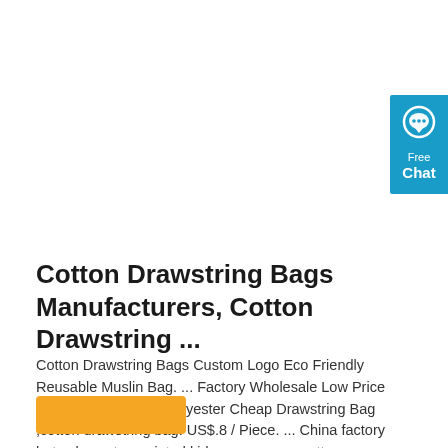[Figure (other): Blue chat widget with speech bubble icon and 'Free Chat' text]
Cotton Drawstring Bags Manufacturers, Cotton Drawstring ...
Cotton Drawstring Bags Custom Logo Eco Friendly Reusable Muslin Bag. ... Factory Wholesale Low Price Custom Logo 210D Polyester Cheap Drawstring Bag ,cotton drawstring bag. US$.8 / Piece. ... China factory hot sale custom printed kids gym canvas cotton drawstring bag. US$.43 / Piece. 1000 Pieces (MOQ) ...
[Figure (other): Orange button element at bottom left]